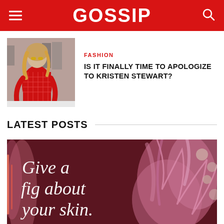GOSSIP
[Figure (photo): Woman in red checkered outfit at an event, seen from behind, with photographers in background]
FASHION
IS IT FINALLY TIME TO APOLOGIZE TO KRISTEN STEWART?
LATEST POSTS
[Figure (photo): Pink-toned event display with text 'Give a fig about your skin.' and floral pink feathery decorations]